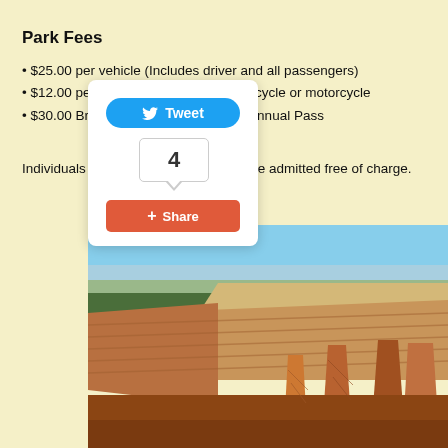Park Fees
$25.00 per vehicle (Includes driver and all passengers)
$12.00 per person entering by foot, bicycle or motorcycle
$30.00 Bryce Canyon National Park Annual Pass
Individuals 15 years old and younger are admitted free of charge.
[Figure (screenshot): Twitter Tweet button and Google+1 Share button social media overlay widget showing count of 4]
[Figure (photo): Aerial photograph of Bryce Canyon National Park showing orange and red hoodoo rock formations with green forest and blue sky in background]